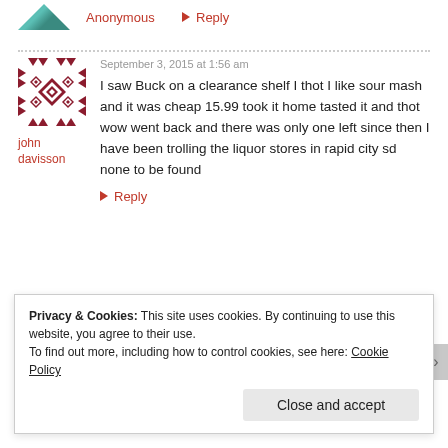Anonymous
Reply
September 3, 2015 at 1:56 am
john davisson
I saw Buck on a clearance shelf I thot I like sour mash and it was cheap 15.99 took it home tasted it and thot wow went back and there was only one left since then I have been trolling the liquor stores in rapid city sd none to be found
Reply
Privacy & Cookies: This site uses cookies. By continuing to use this website, you agree to their use.
To find out more, including how to control cookies, see here: Cookie Policy
Close and accept